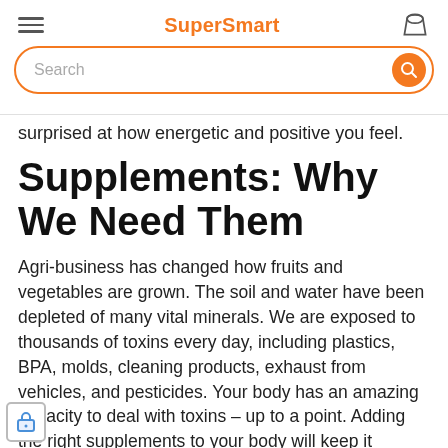SuperSmart
surprised at how energetic and positive you feel.
Supplements: Why We Need Them
Agri-business has changed how fruits and vegetables are grown. The soil and water have been depleted of many vital minerals. We are exposed to thousands of toxins every day, including plastics, BPA, molds, cleaning products, exhaust from vehicles, and pesticides. Your body has an amazing capacity to deal with toxins – up to a point. Adding the right supplements to your body will keep it functioning at a higher level, dealing with the constant barrage from the environment.